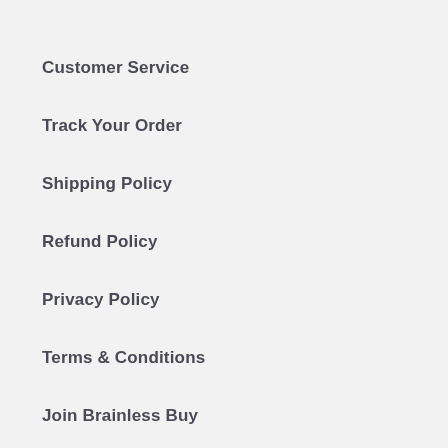Customer Service
Track Your Order
Shipping Policy
Refund Policy
Privacy Policy
Terms & Conditions
Join Brainless Buy